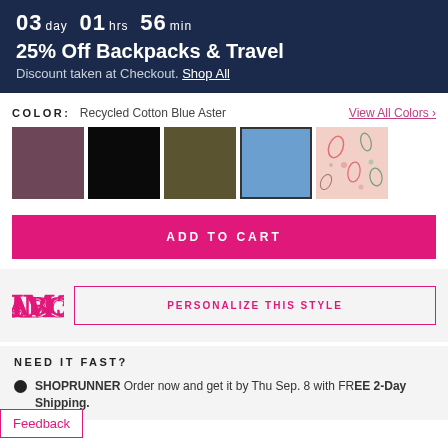03 day  01 hrs  56 min
25% Off Backpacks & Travel
Discount taken at Checkout. Shop All
COLOR: Recycled Cotton Blue Aster
View All Colors >
[Figure (other): Five color swatches: mauve/purple, black, dark olive, blue aster (selected with border), and paisley floral print]
ADD TO CART
[Figure (logo): ABC monogram logo in pink]
PERSONALIZE THIS STYLE
NEED IT FAST?
SHOPRUNNER Order now and get it by Thu Sep. 8 with FREE 2-Day Shipping.
Feedback